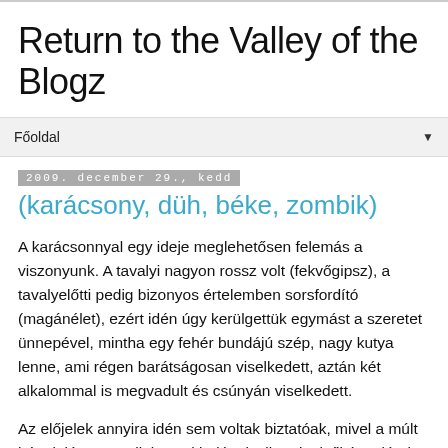Return to the Valley of the Blogz
Főoldal
2009. december 29., kedd
(karácsony, düh, béke, zombik)
A karácsonnyal egy ideje meglehetősen felemás a viszonyunk. A tavalyi nagyon rossz volt (fekvőgipsz), a tavalyelőtti pedig bizonyos értelemben sorsfordító (magánélet), ezért idén úgy kerülgettük egymást a szeretet ünnepével, mintha egy fehér bundájú szép, nagy kutya lenne, ami régen barátságosan viselkedett, aztán két alkalommal is megvadult és csúnyán viselkedett.
Az előjelek annyira idén sem voltak biztatóak, mivel a múlt hét elején az egyik könyvkiadónak sikerült elsőként elérnie